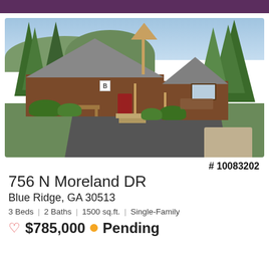[Figure (photo): Exterior photo of a log cabin style single-family home with a metal roof, surrounded by trees, with a paved driveway and porch.]
# 10083202
756 N Moreland DR
Blue Ridge, GA 30513
3 Beds | 2 Baths | 1500 sq.ft. | Single-Family
♡ $785,000 ● Pending